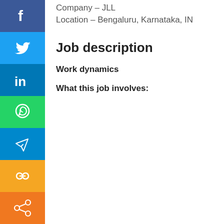Company – JLL
Location – Bengaluru, Karnataka, IN
Job description
Work dynamics
What this job involves:
[Figure (infographic): Vertical social media sharing sidebar with icons: Facebook (blue), Twitter (light blue), LinkedIn (dark blue), WhatsApp (green), Telegram (blue), Copy link (yellow/orange), Share (orange)]